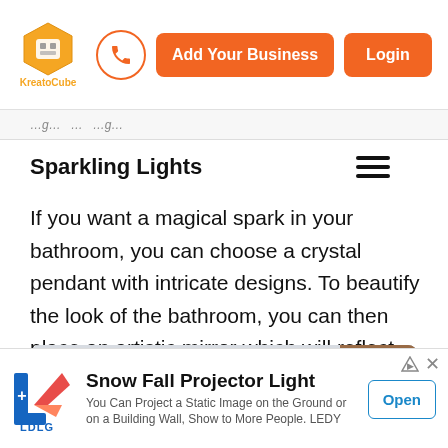KreatoCube | Add Your Business | Login
Sparkling Lights
If you want a magical spark in your bathroom, you can choose a crystal pendant with intricate designs. To beautify the look of the bathroom, you can then place an artistic mirror which will reflect the light in the whole bathroom.
[Figure (photo): Photo of a ceiling-mounted lighting fixture with warm recessed lights and wooden trim accent]
[Figure (logo): LDLG brand logo with red and blue flame/arrow design]
Snow Fall Projector Light
You Can Project a Static Image on the Ground or on a Building Wall, Show to More People. LEDY